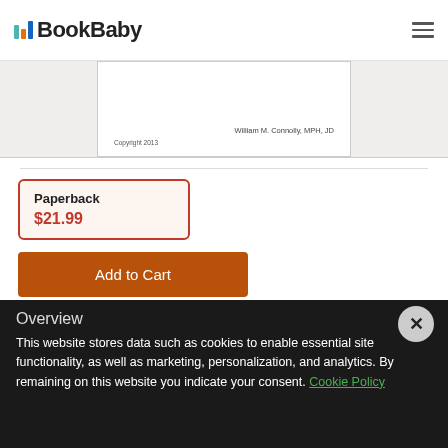[Figure (logo): BookBaby logo with colored bar chart icon and bold text]
[Figure (screenshot): Book interior preview card showing 'William M. Connolly, MPH, JD' and 'Copyright 2013']
Paperback
$21.99
Add to Cart
Overview
This website stores data such as cookies to enable essential site functionality, as well as marketing, personalization, and analytics. By remaining on this website you indicate your consent. Cookie Policy